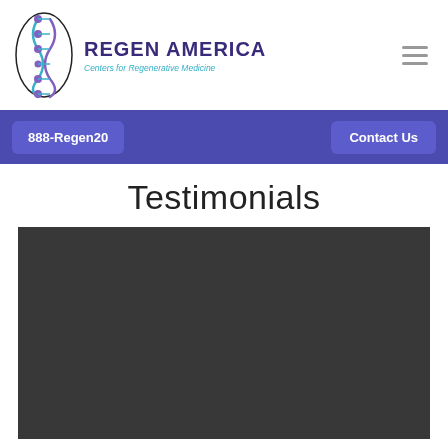[Figure (logo): Regen America logo with DNA helix graphic and text 'REGEN AMERICA Centers for Regenerative Medicine']
888-Regen20    Contact Us
Testimonials
[Figure (screenshot): Dark gray video player placeholder area]